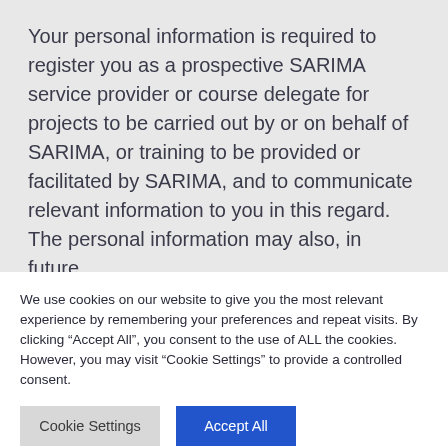Your personal information is required to register you as a prospective SARIMA service provider or course delegate for projects to be carried out by or on behalf of SARIMA, or training to be provided or facilitated by SARIMA, and to communicate relevant information to you in this regard.

The personal information may also, in future,
We use cookies on our website to give you the most relevant experience by remembering your preferences and repeat visits. By clicking “Accept All”, you consent to the use of ALL the cookies. However, you may visit “Cookie Settings” to provide a controlled consent.
Cookie Settings | Accept All